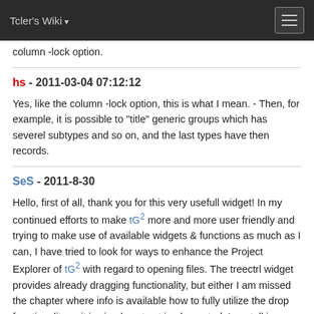Tcler's Wiki
column -lock option.
hs - 2011-03-04 07:12:12
Yes, like the column -lock option, this is what I mean. - Then, for example, it is possible to "title" generic groups which has severel subtypes and so on, and the last types have then records.
SeS - 2011-8-30
Hello, first of all, thank you for this very usefull widget! In my continued efforts to make tG² more and more user friendly and trying to make use of available widgets & functions as much as I can, I have tried to look for ways to enhance the Project Explorer of tG² with regard to opening files. The treectrl widget provides already dragging functionality, but either I am missed the chapter where info is available how to fully utilize the drop functionality or it is simply not yet implemented. I am talking about dragging treectrl